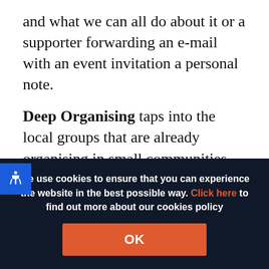and what we can all do about it or a supporter forwarding an e-mail with an event invitation a personal note.
Deep Organising taps into the local groups that are already organising in small communities and supports them. It's about getting into the deeper organising that already exists naturally within communities and finding ways to
We use cookies to ensure that you can experience the website in the best possible way. Click here to find out more about our cookies policy
OK